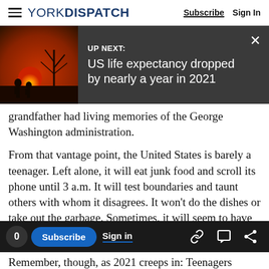YORK DISPATCH   Subscribe   Sign In
[Figure (screenshot): UP NEXT banner with silhouette image of two soldiers against sunset sky. Title: US life expectancy dropped by nearly a year in 2021]
grandfather had living memories of the George Washington administration.
From that vantage point, the United States is barely a teenager. Left alone, it will eat junk food and scroll its phone until 3 a.m. It will test boundaries and taunt others with whom it disagrees. It won't do the dishes or take out the garbage. Sometimes, it will seem to have no future other than playing XBox, watching "The
0  Subscribe  Sign in  [link icon] [comment icon] [share icon]
Remember, though, as 2021 creeps in: Teenagers